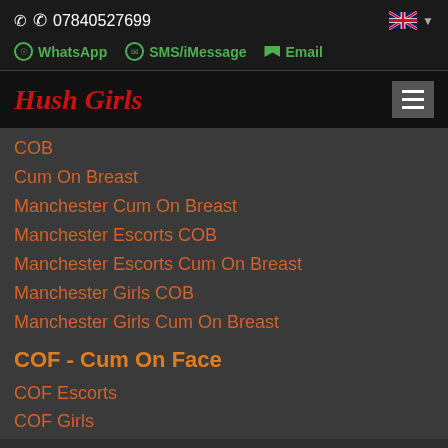07840527699
WhatsApp  SMS/iMessage  Email
Hush Girls
COB
Cum On Breast
Manchester Cum On Breast
Manchester Escorts COB
Manchester Escorts Cum On Breast
Manchester Girls COB
Manchester Girls Cum On Breast
COF - Cum On Face
COF Escorts
COF Girls